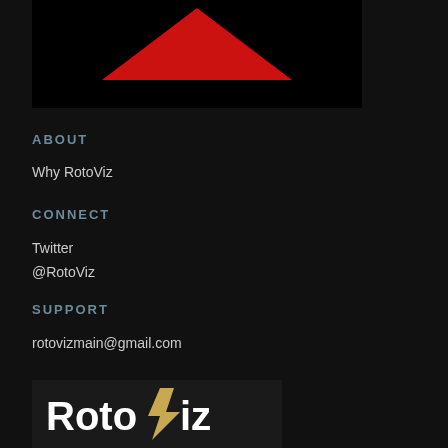[Figure (logo): RotoViz logo: black background with red downward-pointing triangle/chevron shape]
ABOUT
Why RotoViz
CONNECT
Twitter
@RotoViz
SUPPORT
rotovizmain@gmail.com
[Figure (logo): RotoViz logo at bottom: white bold text 'RotoViz' with a gold/tan lightning bolt replacing the letter V, on dark background]